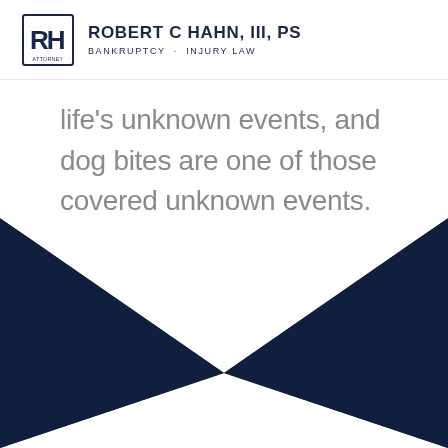ROBERT C HAHN, III, PS — BANKRUPTCY · INJURY LAW
life's unknown events, and dog bites are one of those covered unknown events.
[Figure (illustration): Dark navy blue decorative chevron/arrow shape pointing downward, forming a V-shape against white background in the lower half of the page]